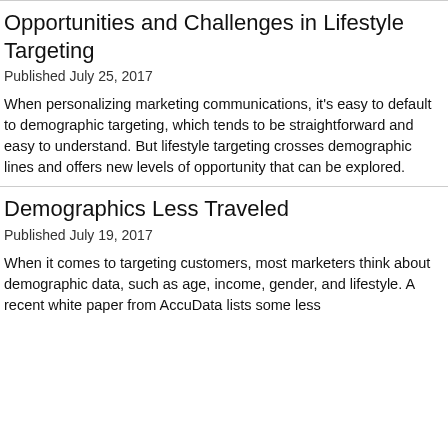Opportunities and Challenges in Lifestyle Targeting
Published July 25, 2017
When personalizing marketing communications, it's easy to default to demographic targeting, which tends to be straightforward and easy to understand. But lifestyle targeting crosses demographic lines and offers new levels of opportunity that can be explored.
Demographics Less Traveled
Published July 19, 2017
When it comes to targeting customers, most marketers think about demographic data, such as age, income, gender, and lifestyle. A recent white paper from AccuData lists some less